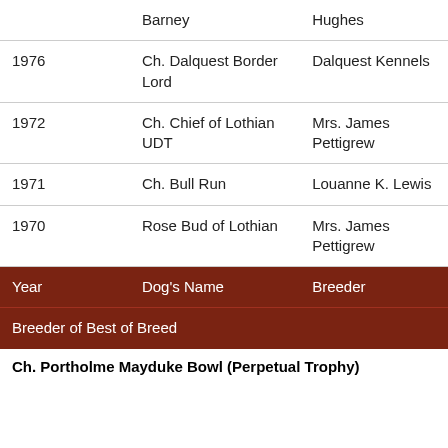| Year | Dog's Name | Breeder |
| --- | --- | --- |
|  | Barney | Hughes |
| 1976 | Ch. Dalquest Border Lord | Dalquest Kennels |
| 1972 | Ch. Chief of Lothian UDT | Mrs. James Pettigrew |
| 1971 | Ch. Bull Run | Louanne K. Lewis |
| 1970 | Rose Bud of Lothian | Mrs. James Pettigrew |
| Year | Dog's Name | Breeder |
| Breeder of Best of Breed |  |  |
Ch. Portholme Mayduke Bowl (Perpetual Trophy)